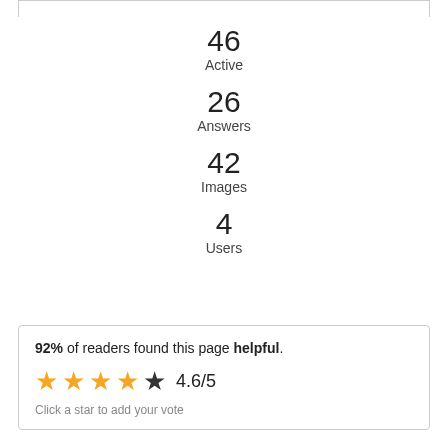46
Active
26
Answers
42
Images
4
Users
92% of readers found this page helpful.
4.6/5
Click a star to add your vote